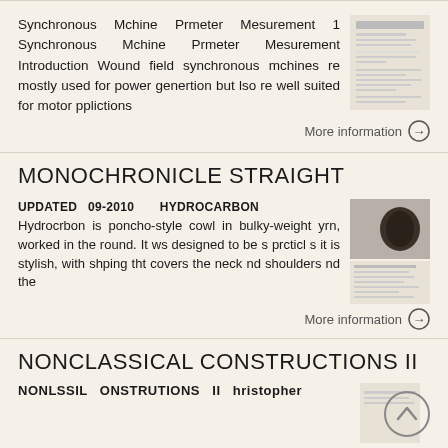Synchronous Mchine Prmeter Mesurement 1 Synchronous Mchine Prmeter Mesurement Introduction Wound field synchronous mchines re mostly used for power genertion but lso re well suited for motor pplictions
More information →
MONOCHRONICLE STRAIGHT
UPDATED 09-2010 HYDROCARBON Hydrocrbon is poncho-style cowl in bulky-weight yrn, worked in the round. It ws designed to be s prcticl s it is stylish, with shping tht covers the neck nd shoulders nd the
More information →
NONCLASSICAL CONSTRUCTIONS II
NONLSSIL ONSTRUTIONS II hristopher